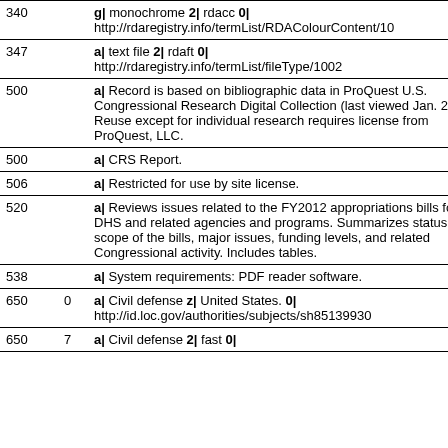| Field | Ind | Data |
| --- | --- | --- |
| 340 |  | g| monochrome 2| rdacc 0| http://rdaregistry.info/termList/RDAColourContent/10... |
| 347 |  | a| text file 2| rdaft 0| http://rdaregistry.info/termList/fileType/1002 |
| 500 |  | a| Record is based on bibliographic data in ProQuest U.S. Congressional Research Digital Collection (last viewed Jan. 2013). Reuse except for individual research requires license from ProQuest, LLC. |
| 500 |  | a| CRS Report. |
| 506 |  | a| Restricted for use by site license. |
| 520 |  | a| Reviews issues related to the FY2012 appropriations bills for DHS and related agencies and programs. Summarizes status and scope of the bills, major issues, funding levels, and related Congressional activity. Includes tables. |
| 538 |  | a| System requirements: PDF reader software. |
| 650 | 0 | a| Civil defense z| United States. 0| http://id.loc.gov/authorities/subjects/sh85139930 |
| 650 | 7 | a| Civil defense 2| fast 0|... |